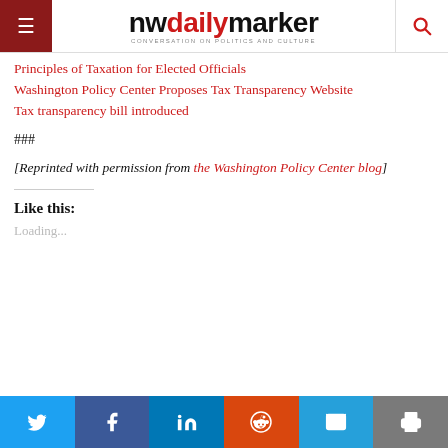nwdailymarker — CONVERSATION ON POLITICS AND CULTURE
Principles of Taxation for Elected Officials
Washington Policy Center Proposes Tax Transparency Website
Tax transparency bill introduced
###
[Reprinted with permission from the Washington Policy Center blog]
Like this:
Loading...
Share buttons: Twitter, Facebook, LinkedIn, Reddit, Email, Print